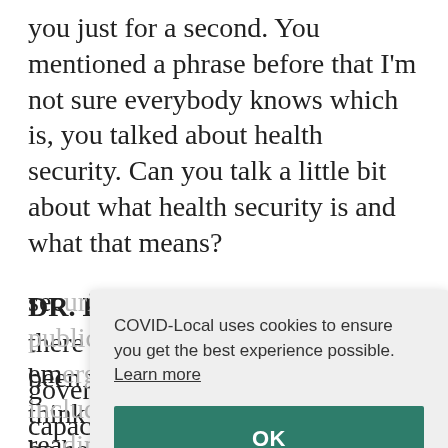you just for a second. You mentioned a phrase before that I'm not sure everybody knows which is, you talked about health security. Can you talk a little bit about what health security is and what that means?
DR. KATZ: Great question. And there are a lot of people who have been working to try to define it. I think the easiest definition and to be honest, Jason, the taxonomy has changed over the last 20 years. So, a lot of what we call health security today is what we called public health emergency... readiness... the... preparedness... emergency... everything... governance of disease outbreak to capacity
COVID-Local uses cookies to ensure you get the best experience possible. Learn more
OK
governance of disease outbreak to capacity